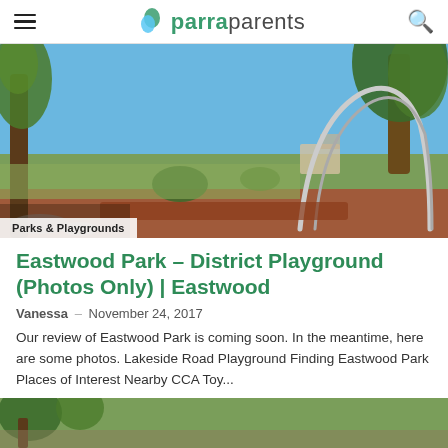parraparents
[Figure (photo): Outdoor park scene with trees, green grass, red rubber playground surface, and a metal arch climbing structure under blue sky.]
Parks & Playgrounds
Eastwood Park – District Playground (Photos Only) | Eastwood
Vanessa – November 24, 2017
Our review of Eastwood Park is coming soon. In the meantime, here are some photos. Lakeside Road Playground Finding Eastwood Park Places of Interest Nearby CCA Toy...
[Figure (photo): Partial view of another park or playground photo at the bottom of the page.]